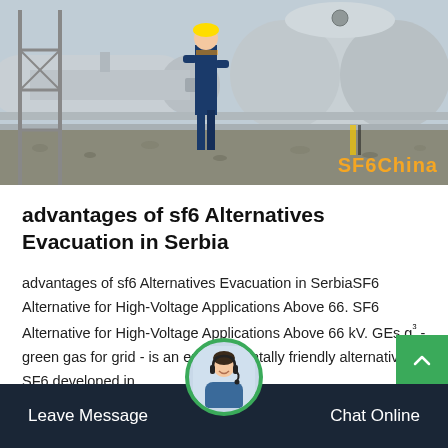[Figure (photo): Industrial worker in blue coveralls standing near large gray pressure vessels and piping at an industrial/energy facility. SF6China watermark in orange in lower right.]
advantages of sf6 Alternatives Evacuation in Serbia
advantages of sf6 Alternatives Evacuation in SerbiaSF6 Alternative for High-Voltage Applications Above 66. SF6 Alternative for High-Voltage Applications Above 66 kV. GEs g³ - green gas for grid - is an environmentally friendly alternative to SF6 developed in…